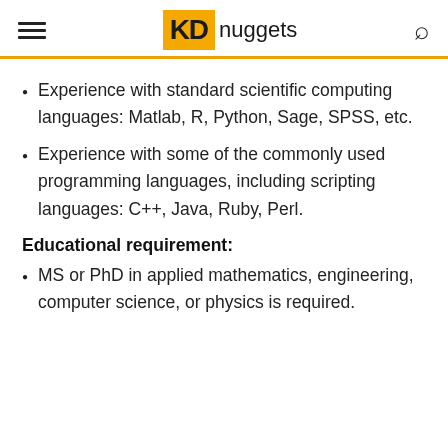KD nuggets
Experience with standard scientific computing languages: Matlab, R, Python, Sage, SPSS, etc.
Experience with some of the commonly used programming languages, including scripting languages: C++, Java, Ruby, Perl.
Educational requirement:
MS or PhD in applied mathematics, engineering, computer science, or physics is required.